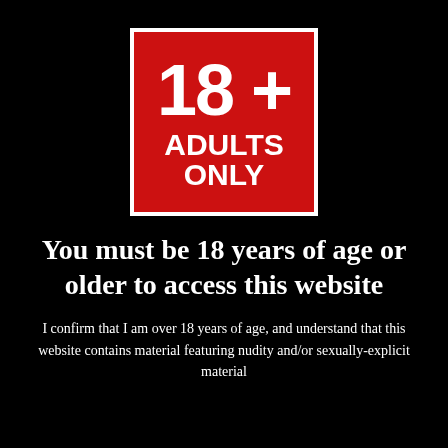[Figure (logo): Red square badge with white border, displaying '18+' in large bold text and 'ADULTS ONLY' below in bold uppercase text]
You must be 18 years of age or older to access this website
I confirm that I am over 18 years of age, and understand that this website contains material featuring nudity and/or sexually-explicit material